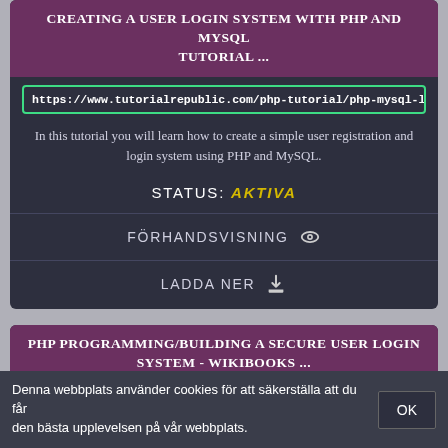CREATING A USER LOGIN SYSTEM WITH PHP AND MYSQL TUTORIAL ...
https://www.tutorialrepublic.com/php-tutorial/php-mysql-login-system.
In this tutorial you will learn how to create a simple user registration and login system using PHP and MySQL.
STATUS: AKTIVA
FÖRHANDSVISNING
LADDA NER
PHP PROGRAMMING/BUILDING A SECURE USER LOGIN SYSTEM - WIKIBOOKS ...
https://en.wikibooks.org/wiki/PHP_Programming/Building_a_secure_u
Denna webbplats använder cookies för att säkerställa att du får den bästa upplevelsen på vår webbplats.